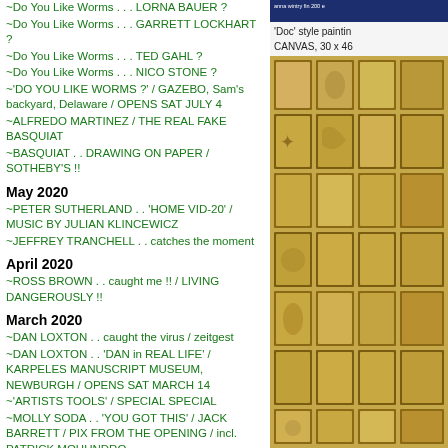~Do You Like Worms . . . LORNA BAUER ?
~Do You Like Worms . . . GARRETT LOCKHART ?
~Do You Like Worms . . . TED GAHL ?
~Do You Like Worms . . . NICO STONE ?
~'DO YOU LIKE WORMS ?' / GAZEBO, Sam's backyard, Delaware / OPENS SAT JULY 4
~ALFREDO MARTINEZ / THE REAL FAKE BASQUIAT
~BASQUIAT . . DRAWING ON PAPER / SOTHEBY'S !!
May 2020
~PETER SUTHERLAND . . 'HOME VID-20' / MUSIC BY JULIAN KLINCEWICZ
~JEFFREY TRANCHELL . . catches the moment
April 2020
~ROSS BROWN . . caught me !! / LIVING DANGEROUSLY !!
March 2020
~DAN LOXTON . . caught the virus / zeitgest
~DAN LOXTON . . 'DAN in REAL LIFE' / KARPELES MANUSCRIPT MUSEUM, NEWBURGH / OPENS SAT MARCH 14
~'ARTISTS TOOLS' / SPECIAL SPECIAL
~MOLLY SODA . . 'YOU GOT THIS' / JACK BARRETT / PIX FROM THE OPENING / incl. PATRICK MOHUNDRO
~VIRTUAL DREAM CENTER x PRECOG / HALEY JOSEPHS OPENING
~HALEY JOSEPHS . . 'PAINTINGS & DRAWINGS for CHILDHOOD'S END ' / JACK BARRETT / PIX FROM THE OPENING
February 2020
~HALEY JOSEPHS . . 'PAINTINGS & DRAWINGS for CHILDHOOD'S END' / JACK BARRETT / OPENS SUN MARCH 1
~HALEY JOSEPHS . . . YALE MFA OPEN STUDIO 2013
~JORDAN CASTEEL . . IN THE NEWS / YALE MFA OPEN
[Figure (photo): Photo of a grid of small framed artworks/paintings on a wall, with yellowish-golden tones. Above is a dark blue banner with white text. Caption reads: 'Doc' style painting CANVAS, 30 x 46]